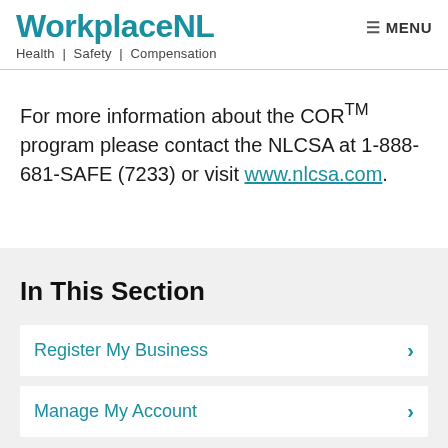WorkplaceNL Health | Safety | Compensation
For more information about the COR™ program please contact the NLCSA at 1-888-681-SAFE (7233) or visit www.nlcsa.com.
In This Section
Register My Business
Manage My Account